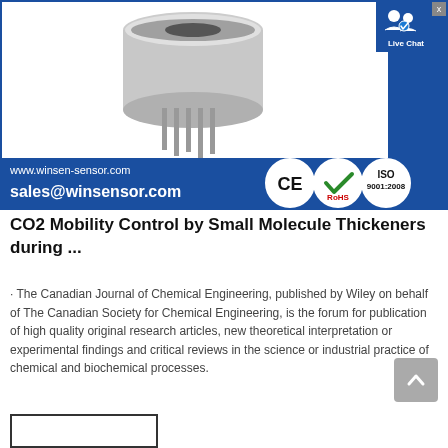[Figure (photo): Advertisement banner for Winsen Sensor: shows a metallic CO2 sensor component (cylindrical with pins) on white background, with blue banner showing www.winsen-sensor.com and sales@winsensor.com, CE, RoHS, and ISO 9001:2008 certification badges, and a Live Chat button overlay]
CO2 Mobility Control by Small Molecule Thickeners during ...
· The Canadian Journal of Chemical Engineering, published by Wiley on behalf of The Canadian Society for Chemical Engineering, is the forum for publication of high quality original research articles, new theoretical interpretation or experimental findings and critical reviews in the science or industrial practice of chemical and biochemical processes.